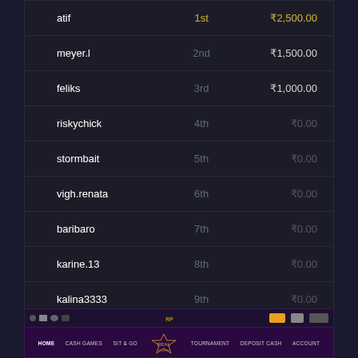| Name | Rank | Prize |
| --- | --- | --- |
| atif | 1st | ₹2,500.00 |
| meyer.l | 2nd | ₹1,500.00 |
| feliks | 3rd | ₹1,000.00 |
| riskychick | 4th | ₹0.00 |
| stormbait | 5th | ₹0.00 |
| vigh.renata | 6th | ₹0.00 |
| baribaro | 7th | ₹0.00 |
| karine.13 | 8th | ₹0.00 |
| kalina3333 | 9th | ₹0.00 |
| arjun18 | 10th | ₹0.00 |
[Figure (screenshot): RealPoker India navigation bar with menu items: HOME, CASH GAMES, SIT & GO, TOURNAMENT, DEPOSIT CASH, ACCOUNT]